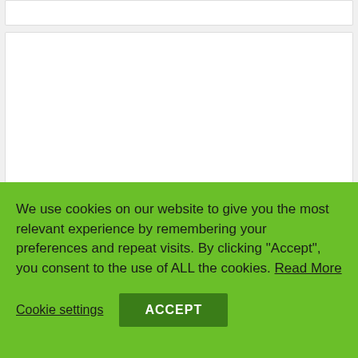[Figure (other): Partial white card strip at the top of the page]
How Does My Puppy Learn?
☕ 20 mins read
Share Me Having acquired your new puppy,
We use cookies on our website to give you the most relevant experience by remembering your preferences and repeat visits. By clicking "Accept", you consent to the use of ALL the cookies. Read More
Cookie settings
ACCEPT